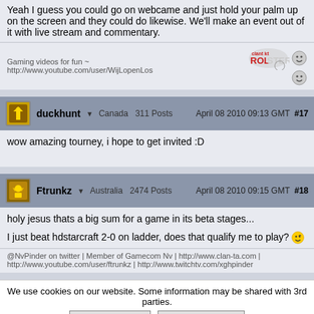Yeah I guess you could go on webcame and just hold your palm up on the screen and they could do likewise. We'll make an event out of it with live stream and commentary.
Gaming videos for fun ~ http://www.youtube.com/user/WijLopenLos
duckhunt ▼ Canada  311 Posts    April 08 2010 09:13 GMT  #17
wow amazing tourney, i hope to get invited :D
Ftrunkz ▼  Australia  2474 Posts    April 08 2010 09:15 GMT  #18
holy jesus thats a big sum for a game in its beta stages...
I just beat hdstarcraft 2-0 on ladder, does that qualify me to play? 😉
@NvPinder on twitter | Member of Gamecom Nv | http://www.clan-ta.com | http://www.youtube.com/user/ftrunkz | http://www.twitchtv.com/xghpinder
We use cookies on our website. Some information may be shared with 3rd parties.
Accept Cookies  More Information